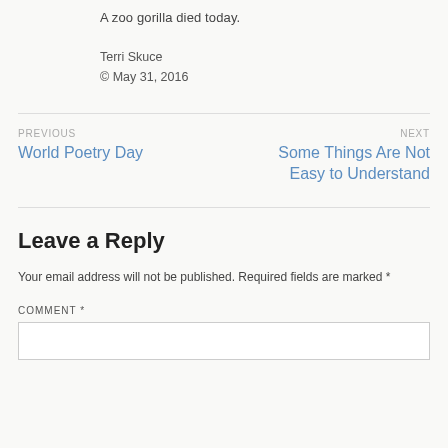A zoo gorilla died today.
Terri Skuce
© May 31, 2016
PREVIOUS
World Poetry Day
NEXT
Some Things Are Not Easy to Understand
Leave a Reply
Your email address will not be published. Required fields are marked *
COMMENT *